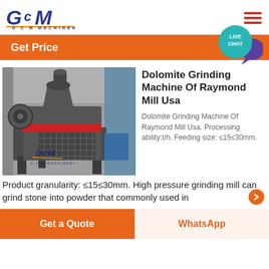[Figure (logo): GCM Machinery logo with blue italic GCM text, orange underline, and 'G C M  MACHINERY' text below]
Get Price
[Figure (photo): Industrial dolomite grinding machine (Raymond mill) in a factory setting, gray heavy machinery with red accents, GCM Machinery branding watermark]
Dolomite Grinding Machine Of Raymond Mill Usa
Dolomite Grinding Machine Of Raymond Mill Usa. Processing ability:t/h. Feeding size: ≤15≤30mm.
Product granularity: ≤15≤30mm. High pressure grinding mill can grind stone into powder that commonly used in
Get a Quote
WhatsApp